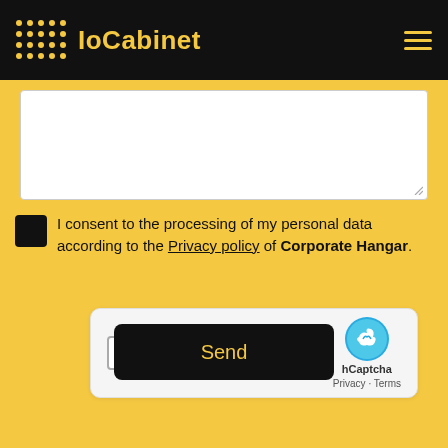IoCabinet
[Figure (screenshot): Empty white textarea input field with a resize handle in the bottom-right corner]
I consent to the processing of my personal data according to the Privacy policy of Corporate Hangar.
[Figure (screenshot): hCaptcha widget with checkbox labeled 'I am human' and hCaptcha branding logo with Privacy and Terms links]
Send